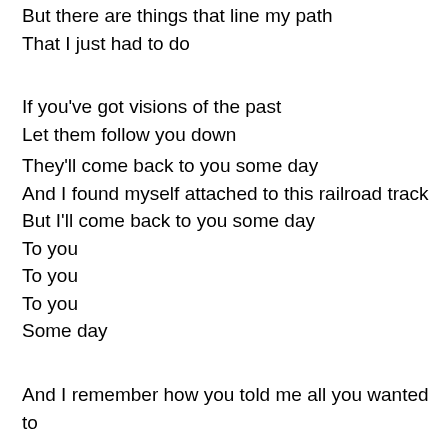But there are things that line my path
That I just had to do
If you've got visions of the past
Let them follow you down
They'll come back to you some day
And I found myself attached to this railroad track
But I'll come back to you some day
To you
To you
To you
Some day
And I remember how you told me all you wanted to